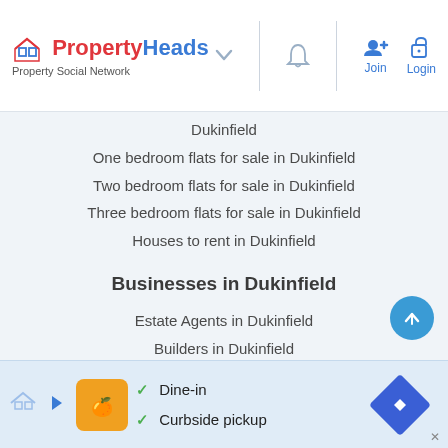PropertyHeads Property Social Network
Dukinfield
One bedroom flats for sale in Dukinfield
Two bedroom flats for sale in Dukinfield
Three bedroom flats for sale in Dukinfield
Houses to rent in Dukinfield
Businesses in Dukinfield
Estate Agents in Dukinfield
Builders in Dukinfield
Electricians in Dukinfield
Plumbers in Dukinfield
Plasterer in Dukinfield
Gardens in Dukinfield
Roofers in Dukinfield
Dine-in Curbside pickup